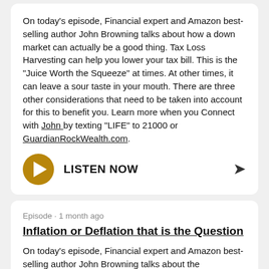On today's episode, Financial expert and Amazon best-selling author John Browning talks about how a down market can actually be a good thing. Tax Loss Harvesting can help you lower your tax bill. This is the "Juice Worth the Squeeze" at times. At other times, it can leave a sour taste in your mouth. There are three other considerations that need to be taken into account for this to benefit you. Learn more when you Connect with John by texting "LIFE" to 21000 or GuardianRockWealth.com.
[Figure (other): Golden circular play button with white triangle, label LISTEN NOW, and share arrow icon]
Episode · 1 month ago
Inflation or Deflation that is the Question
On today's episode, Financial expert and Amazon best-selling author John Browning talks about the